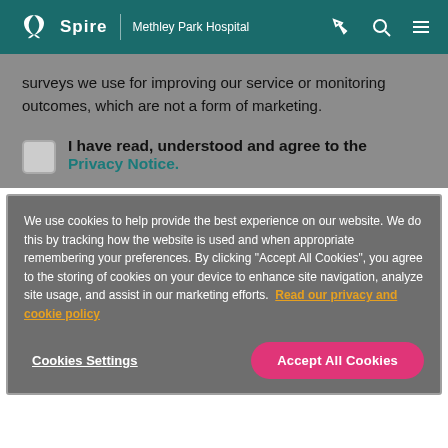Spire | Methley Park Hospital
surveys we use for improving our service or monitoring outcomes, which are not a form of marketing.
I have read, understood and agree to the Privacy Notice.
We use cookies to help provide the best experience on our website. We do this by tracking how the website is used and when appropriate remembering your preferences. By clicking "Accept All Cookies", you agree to the storing of cookies on your device to enhance site navigation, analyze site usage, and assist in our marketing efforts. Read our privacy and cookie policy
Cookies Settings | Accept All Cookies